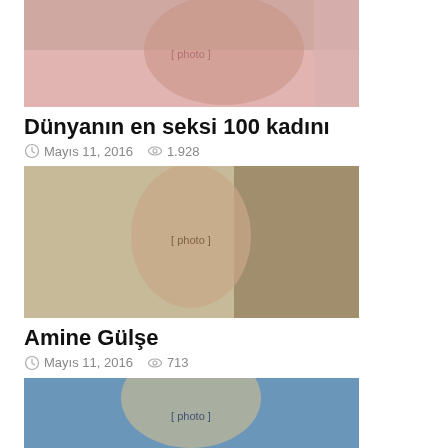[Figure (photo): Woman in white lingerie sitting on a pink couch]
Dünyanın en seksi 100 kadını
Mayıs 11, 2016   1.928
[Figure (photo): Young woman with blue eyes taking a selfie]
Amine Gülşe
Mayıs 11, 2016   713
[Figure (photo): Blonde woman with white necklace]